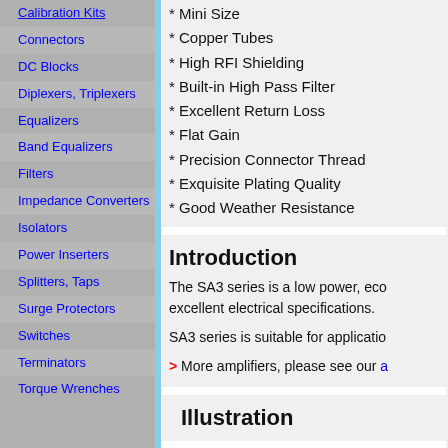Calibration Kits
Connectors
DC Blocks
Diplexers, Triplexers
Equalizers
Band Equalizers
Filters
Impedance Converters
Isolators
Power Inserters
Splitters, Taps
Surge Protectors
Switches
Terminators
Torque Wrenches
* Mini Size
* Copper Tubes
* High RFI Shielding
* Built-in High Pass Filter
* Excellent Return Loss
* Flat Gain
* Precision Connector Thread
* Exquisite Plating Quality
* Good Weather Resistance
Introduction
The SA3 series is a low power, eco... excellent electrical specifications.
SA3 series is suitable for applicatio...
> More amplifiers, please see our a...
Illustration
To boost the signal level of satellite...